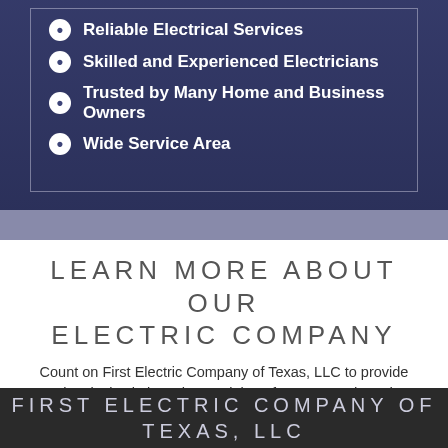Reliable Electrical Services
Skilled and Experienced Electricians
Trusted by Many Home and Business Owners
Wide Service Area
LEARN MORE ABOUT OUR ELECTRIC COMPANY
Count on First Electric Company of Texas, LLC to provide electrical solutions that work best for your needs and building type. With our extensive knowledge of wiring systems and our unrivaled commitment to customer satisfaction, we assure you quality services tailored to your budget and specifications. Give us a call to learn more about our electric company and the services we offer.
FIRST ELECTRIC COMPANY OF TEXAS, LLC